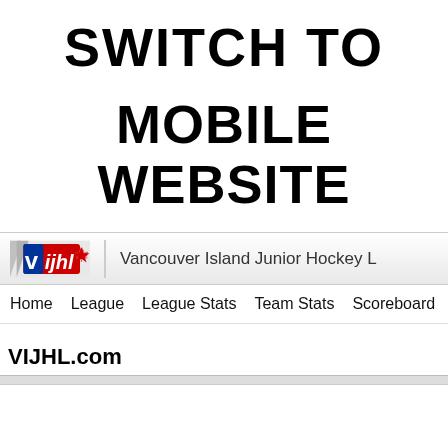SWITCH TO
MOBILE WEBSITE
[Figure (screenshot): Screenshot of the Vancouver Island Junior Hockey League (VIJHL) website header showing logo, league name, and navigation bar with Home, League, League Stats, Team Stats, Scoreboard menu items]
VIJHL.com